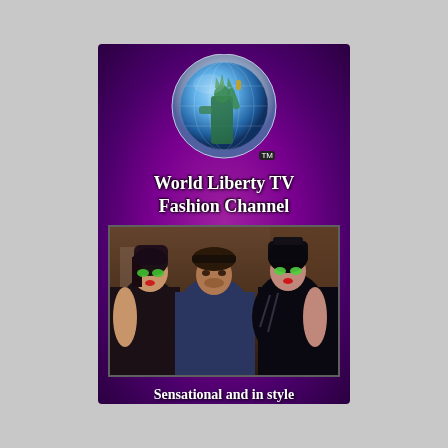[Figure (logo): World Liberty TV Fashion Channel logo: circular globe with Statue of Liberty image, silver/blue metallic rim, TM badge]
World Liberty TV Fashion Channel
[Figure (photo): Three people posing together: two women with dramatic green and black eye makeup wearing dark fashion outfits flanking a man in a dark shirt and hat]
Sensational and in style